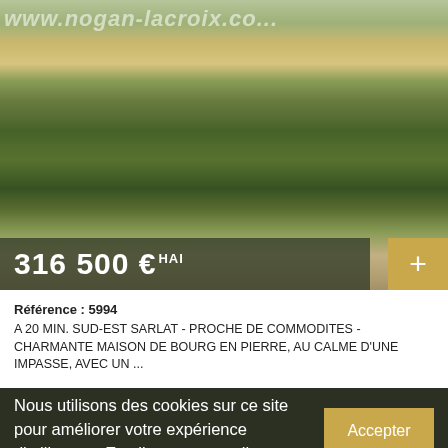[Figure (photo): Exterior photo of a French stone village house with blue shutters, iron gate, and climbing plants. Watermark reads www.nogan-lacroix.com]
316 500 € HAI
Référence : 5994
A 20 MIN. SUD-EST SARLAT - PROCHE DE COMMODITES - CHARMANTE MAISON DE BOURG EN PIERRE, AU CALME D'UNE IMPASSE, AVEC UN ...
Nous utilisons des cookies sur ce site pour améliorer votre expérience d'utilisateur. En cliquant sur un lien sur cette page, vous donnez votre consentement pour que nous configurions des cookies.
Accepter